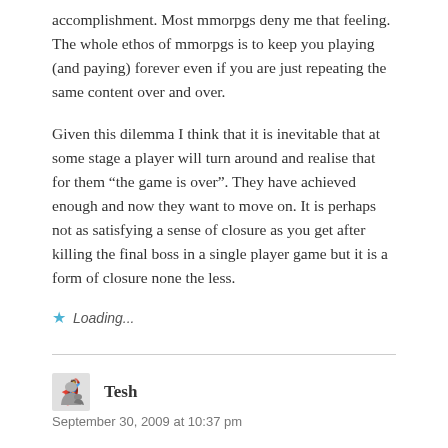accomplishment. Most mmorpgs deny me that feeling. The whole ethos of mmorpgs is to keep you playing (and paying) forever even if you are just repeating the same content over and over.
Given this dilemma I think that it is inevitable that at some stage a player will turn around and realise that for them “the game is over”. They have achieved enough and now they want to move on. It is perhaps not as satisfying a sense of closure as you get after killing the final boss in a single player game but it is a form of closure none the less.
★ Loading...
Tesh
September 30, 2009 at 10:37 pm